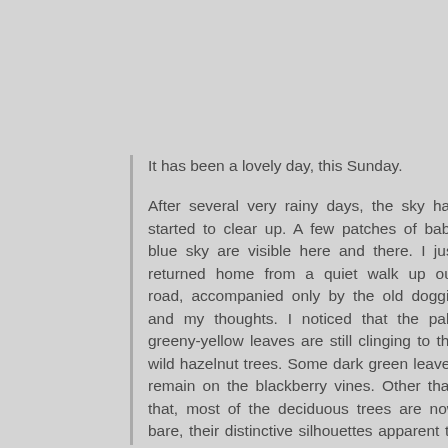It has been a lovely day, this Sunday.

After several very rainy days, the sky has started to clear up. A few patches of baby blue sky are visible here and there. I just returned home from a quiet walk up our road, accompanied only by the old doggie and my thoughts. I noticed that the pale greeny-yellow leaves are still clinging to the wild hazelnut trees. Some dark green leaves remain on the blackberry vines. Other than that, most of the deciduous trees are now bare, their distinctive silhouettes apparent to all.

I also notice another effect of the past few days 'weather.' Our internet is down. For us to have internet connectivity, my husband rigged a tall antenna at our roof, and mounted the Clearw're receiver to the. Technically, we're outside the range of that provider, plus we're surrounded by trees out here in the 'boonies.' Usually this jury-rigged system works to give us some dribble (or more) of connectivity, but with the recent incessant rains and the wind, the receiver isn't pointing just the right way. This is such